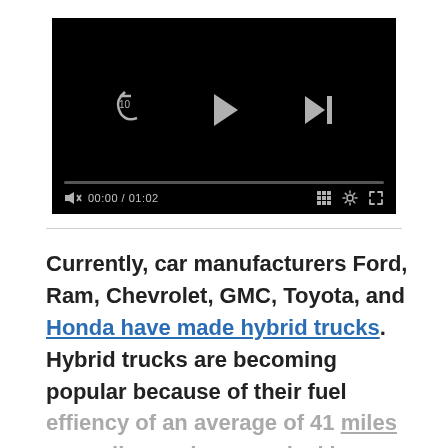[Figure (screenshot): Video player UI with black background showing playback controls: rewind-10, play, skip-next buttons in center; progress bar; bottom bar with muted speaker icon, time 00:00 / 01:02, grid icon, settings gear, and fullscreen icon.]
Currently, car manufacturers Ford, Ram, Chevrolet, GMC, Toyota, and Honda have made hybrid trucks. Hybrid trucks are becoming popular because of their fuel effiency of an average of 41 miles per gallon and economical long-lasting battery. More